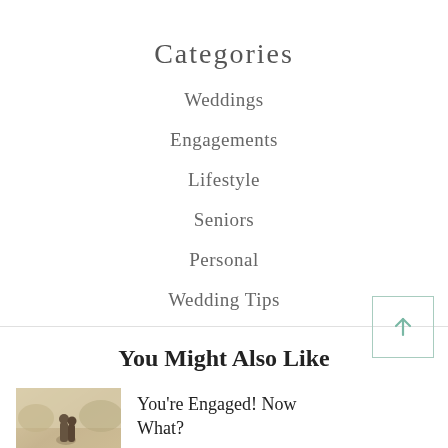Categories
Weddings
Engagements
Lifestyle
Seniors
Personal
Wedding Tips
You Might Also Like
[Figure (photo): Couple embracing outdoors, soft natural light background]
You're Engaged! Now What?